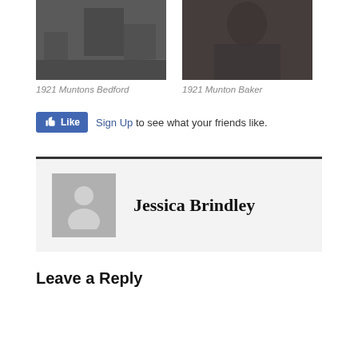[Figure (photo): Black and white historical street scene photo, 1921 Muntons Bedford]
1921 Muntons Bedford
[Figure (photo): Black and white historical portrait or close-up photo, 1921 Munton Baker]
1921 Munton Baker
[Figure (screenshot): Facebook Like button widget with Sign Up link]
Sign Up to see what your friends like.
Jessica Brindley
Leave a Reply